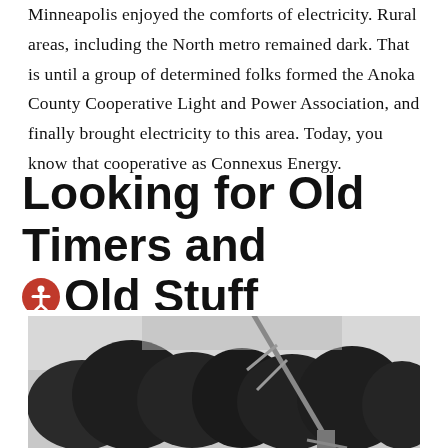Minneapolis enjoyed the comforts of electricity. Rural areas, including the North metro remained dark. That is until a group of determined folks formed the Anoka County Cooperative Light and Power Association, and finally brought electricity to this area. Today, you know that cooperative as Connexus Energy.
Looking for Old Timers and Old Stuff
[Figure (photo): Black and white photograph showing a utility pole or wooden structure being raised, with trees in the background.]